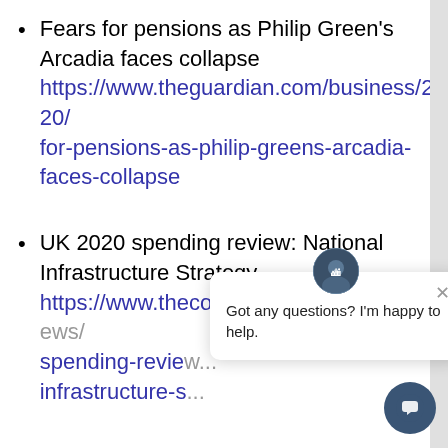Fears for pensions as Philip Green's Arcadia faces collapse https://www.theguardian.com/business/2020/... for-pensions-as-philip-greens-arcadia-faces-collapse
UK 2020 spending review: National Infrastructure Strategy https://www.theconstructionindex.co.uk/news/... spending-review.../infrastructure-s...
'Tony, calm down': Construction worker hammers into new-build after 'not...